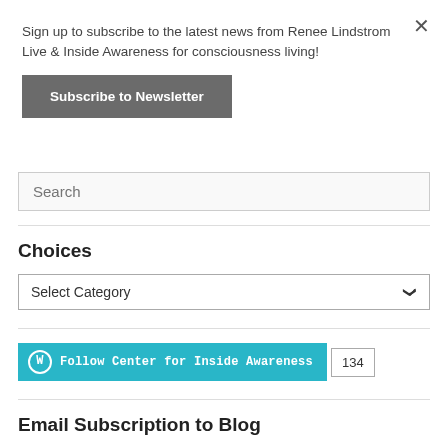Sign up to subscribe to the latest news from Renee Lindstrom Live & Inside Awareness for consciousness living!
Subscribe to Newsletter
Search
Choices
Select Category
Follow Center for Inside Awareness 134
Email Subscription to Blog